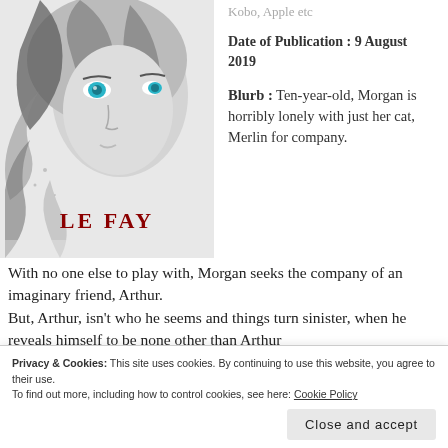[Figure (illustration): Book cover for 'Le Fay' showing a black and white artistic illustration of a young woman's face with striking blue eyes and wild dark hair, with the title 'LE FAY' in dark red text at the bottom center]
Kobo, Apple etc
Date of Publication : 9 August 2019
Blurb : Ten-year-old, Morgan is horribly lonely with just her cat, Merlin for company.
With no one else to play with, Morgan seeks the company of an imaginary friend, Arthur.
But, Arthur, isn't who he seems and things turn sinister, when he reveals himself to be none other than Arthur
Privacy & Cookies: This site uses cookies. By continuing to use this website, you agree to their use.
To find out more, including how to control cookies, see here: Cookie Policy
Close and accept
care forever.